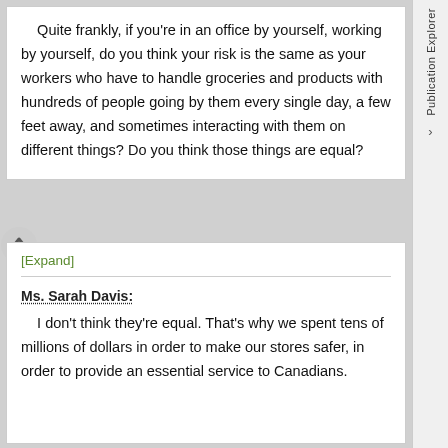Quite frankly, if you're in an office by yourself, working by yourself, do you think your risk is the same as your workers who have to handle groceries and products with hundreds of people going by them every single day, a few feet away, and sometimes interacting with them on different things? Do you think those things are equal?
[Expand]
Ms. Sarah Davis:
I don't think they're equal. That's why we spent tens of millions of dollars in order to make our stores safer, in order to provide an essential service to Canadians.
Publication Explorer